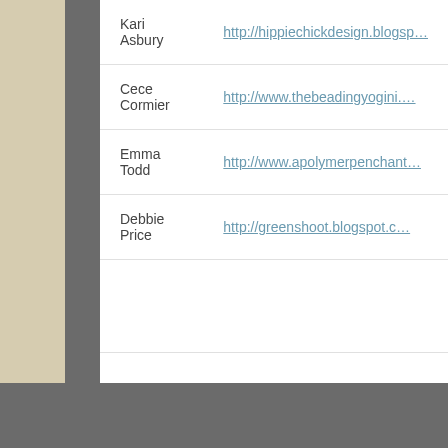| Name | URL |
| --- | --- |
| Kari Asbury | http://hippiechickdesign.blogsp… |
| Cece Cormier | http://www.thebeadingyogini.… |
| Emma Todd | http://www.apolymerpenchant… |
| Debbie Price | http://greenshoot.blogspot.c… |
|  |  |
|  |  |